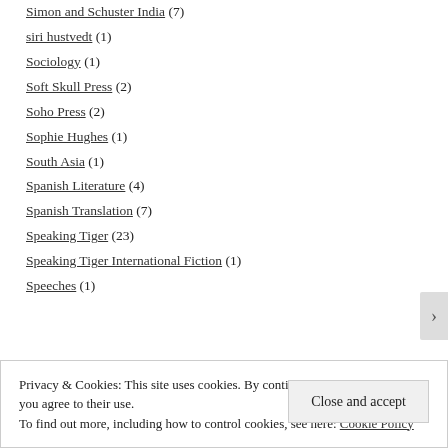Simon and Schuster India (7)
siri hustvedt (1)
Sociology (1)
Soft Skull Press (2)
Soho Press (2)
Sophie Hughes (1)
South Asia (1)
Spanish Literature (4)
Spanish Translation (7)
Speaking Tiger (23)
Speaking Tiger International Fiction (1)
Speeches (1)
Privacy & Cookies: This site uses cookies. By continuing to use this website, you agree to their use.
To find out more, including how to control cookies, see here: Cookie Policy